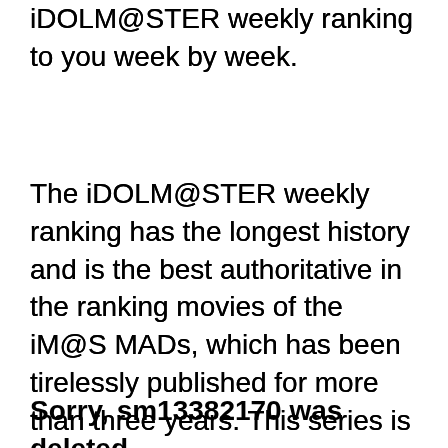We introduce the iDOLM@STER weekly ranking to you week by week.
The iDOLM@STER weekly ranking has the longest history and is the best authoritative in the ranking movies of the iM@S MADs, which has been tirelessly published for more than three years. This series is the most suited to know popularity and information of the iM@S MADs.
Sorry, sm13382170 was deleted.
If there are movies which